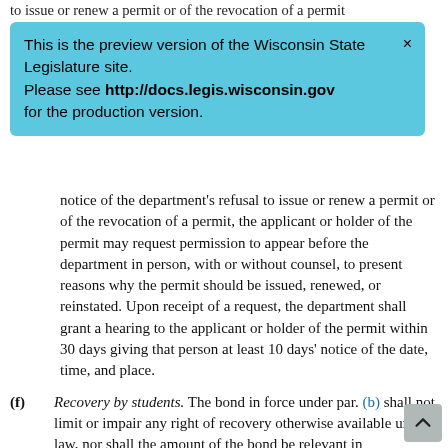to issue or renew a permit or of the revocation of a permit shall be sent by registered mail to the last address of the
[Figure (infographic): Preview version notification banner with light blue background, reading: This is the preview version of the Wisconsin State Legislature site. Please see http://docs.legis.wisconsin.gov for the production version. With a close (x) button in the top right.]
(...) notice of the department's refusal to issue or renew a permit or of the revocation of a permit, the applicant or holder of the permit may request permission to appear before the department in person, with or without counsel, to present reasons why the permit should be issued, renewed, or reinstated. Upon receipt of a request, the department shall grant a hearing to the applicant or holder of the permit within 30 days giving that person at least 10 days' notice of the date, time, and place.
(f) Recovery by students. The bond in force under par. (b) shall not limit or impair any right of recovery otherwise available under law, nor shall the amount of the bond be relevant in determining the amount of damages or other relief to which any plaintiff may be entitled.
(g) Recovery on contracts. No recovery shall be had by any school or its assignee on any contract for or in connection with a course or course of instruction if the representative who sold or solicited the course was not the holder of a solicitor's permit under this subsection at the time of the